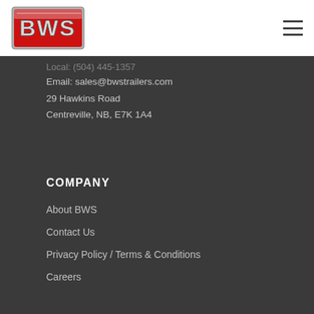[Figure (logo): BWS Trailers logo — red metallic badge with chrome BWS lettering on white background]
Email: sales@bwstrailers.com
29 Hawkins Road
Centreville, NB, E7K 1A4
COMPANY
About BWS
Contact Us
Privacy Policy / Terms & Conditions
Careers